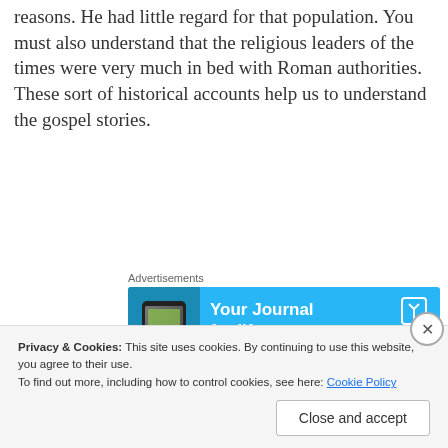reasons.  He had little regard for that population. You must also understand that the religious leaders of the times were very much in bed with Roman authorities. These sort of historical accounts help us to understand the gospel stories.
[Figure (screenshot): Advertisement banner for DayOne journal app with blue background, phone graphic on left, text 'Your Journal for life' and DAYONE branding on right with book icon]
The Bible contains almost all of the accounted history of the early Christian church. As such it is a very powerful document.  Shamefully any counter views of
Privacy & Cookies: This site uses cookies. By continuing to use this website, you agree to their use. To find out more, including how to control cookies, see here: Cookie Policy
Close and accept